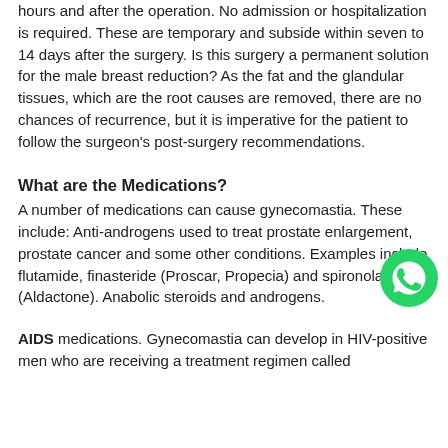hours and after the operation. No admission or hospitalization is required. These are temporary and subside within seven to 14 days after the surgery. Is this surgery a permanent solution for the male breast reduction? As the fat and the glandular tissues, which are the root causes are removed, there are no chances of recurrence, but it is imperative for the patient to follow the surgeon's post-surgery recommendations.
What are the Medications?
A number of medications can cause gynecomastia. These include: Anti-androgens used to treat prostate enlargement, prostate cancer and some other conditions. Examples include flutamide, finasteride (Proscar, Propecia) and spironolactone (Aldactone). Anabolic steroids and androgens.
AIDS medications. Gynecomastia can develop in HIV-positive men who are receiving a treatment regimen called